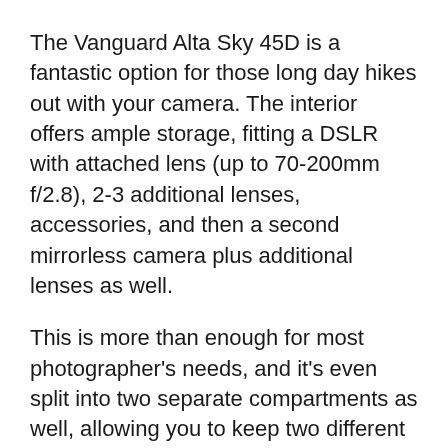The Vanguard Alta Sky 45D is a fantastic option for those long day hikes out with your camera. The interior offers ample storage, fitting a DSLR with attached lens (up to 70-200mm f/2.8), 2-3 additional lenses, accessories, and then a second mirrorless camera plus additional lenses as well.
This is more than enough for most photographer's needs, and it's even split into two separate compartments as well, allowing you to keep two different camera systems completely separate if you desire.
The main section can be accessed with the traditional opening back panel, but also quickly accessed from both the side and the top of the bag. It comes with a weatherproof cover as standard and offers numerous other side pockets for carrying everything you might need.
The thing that makes the Vanguard Alta Sky stand out, though, is their fantastic tripod carrying system. It's got four